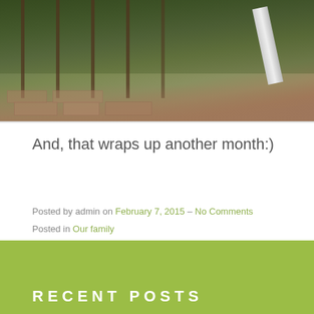[Figure (photo): Outdoor garden photo showing a path with paving stones, green plants/vines along a fence, and what appears to be a slide or ramp in the background]
And, that wraps up another month:)
Posted by admin on February 7, 2015 – No Comments
Posted in Our family
RECENT POSTS